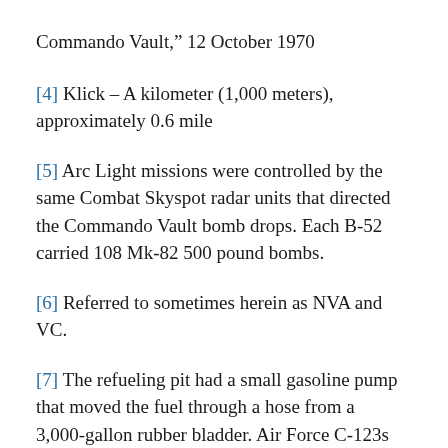Commando Vault,” 12 October 1970
[4] Klick – A kilometer (1,000 meters), approximately 0.6 mile
[5] Arc Light missions were controlled by the same Combat Skyspot radar units that directed the Commando Vault bomb drops. Each B-52 carried 108 Mk-82 500 pound bombs.
[6] Referred to sometimes herein as NVA and VC.
[7] The refueling pit had a small gasoline pump that moved the fuel through a hose from a 3,000-gallon rubber bladder. Air Force C-123s